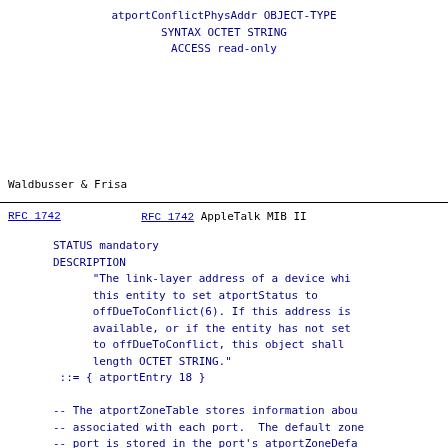atportConflictPhysAddr OBJECT-TYPE
    SYNTAX OCTET STRING
    ACCESS read-only
Waldbusser & Frisa
RFC 1742                        AppleTalk MIB II
STATUS mandatory
        DESCRIPTION
              "The link-layer address of a device whi
              this entity to set atportStatus to
              offDueToConflict(6). If this address is
              available, or if the entity has not set
              to offDueToConflict, this object shall
              length OCTET STRING."
         ::= { atportEntry 18 }

        -- The atportZoneTable stores information abou
        -- associated with each port.  The default zone
        -- port is stored in the port's atportZoneDefa
        -- all other zones for the port are listed in
        -- If a port only has one zone, it should be s
        -- port's atportZoneDefault variable, and this